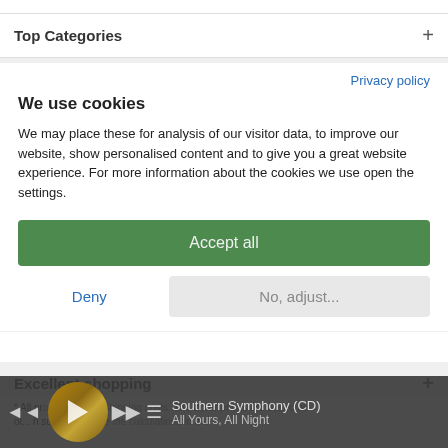Top Categories
Social Media
Privacy policy
We use cookies
We may place these for analysis of our visitor data, to improve our website, show personalised content and to give you a great website experience. For more information about the cookies we use open the settings.
Accept all
Deny
No, adjust...
Excellent shopping
* All prices excluding shipping costs. The dollar prices are based on ol... n sub... p change the calculations in the
Southern Symphony (CD)
All Yours, All Night